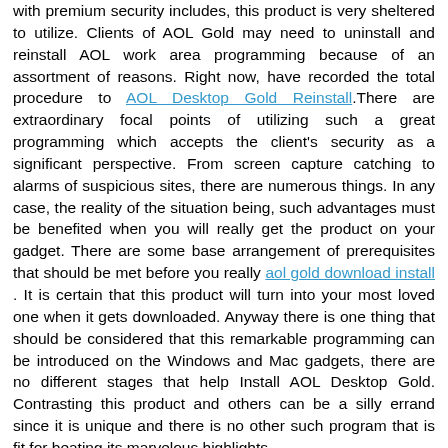with premium security includes, this product is very sheltered to utilize. Clients of AOL Gold may need to uninstall and reinstall AOL work area programming because of an assortment of reasons. Right now, have recorded the total procedure to AOL Desktop Gold Reinstall.There are extraordinary focal points of utilizing such a great programming which accepts the client's security as a significant perspective. From screen capture catching to alarms of suspicious sites, there are numerous things. In any case, the reality of the situation being, such advantages must be benefited when you will really get the product on your gadget. There are some base arrangement of prerequisites that should be met before you really aol gold download install . It is certain that this product will turn into your most loved one when it gets downloaded. Anyway there is one thing that should be considered that this remarkable programming can be introduced on the Windows and Mac gadgets, there are no different stages that help Install AOL Desktop Gold. Contrasting this product and others can be a silly errand since it is unique and there is no other such program that is fit for beating its marvelous highlights.